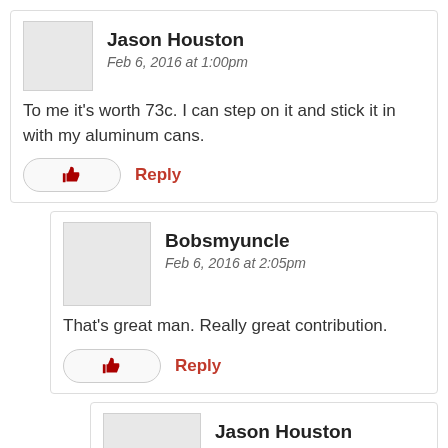Jason Houston
Feb 6, 2016 at 1:00pm
To me it's worth 73c. I can step on it and stick it in with my aluminum cans.
Bobsmyuncle
Feb 6, 2016 at 2:05pm
That's great man. Really great contribution.
Jason Houston
Feb 6, 2016 at 2:32pm